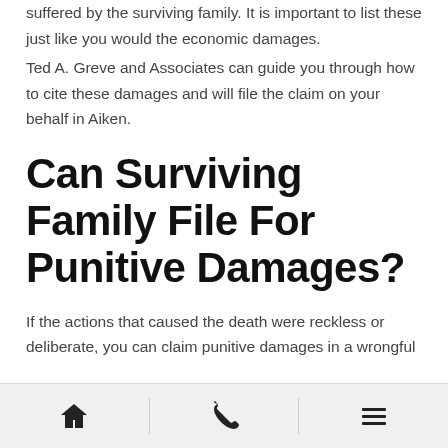suffered by the surviving family. It is important to list these just like you would the economic damages.
Ted A. Greve and Associates can guide you through how to cite these damages and will file the claim on your behalf in Aiken.
Can Surviving Family File For Punitive Damages?
If the actions that caused the death were reckless or deliberate, you can claim punitive damages in a wrongful
Navigation bar with home, phone, and menu icons